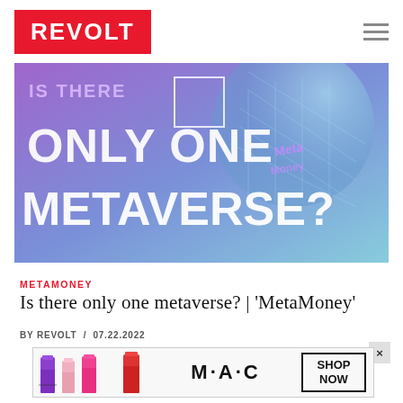REVOLT
[Figure (illustration): Hero image with purple/blue metaverse themed background showing text 'ONLY ONE METAVERSE?' in large white letters with disco ball and abstract digital elements. Top left corner shows 'IS THERE' text. Right side shows stylized logo text.]
METAMONEY
Is there only one metaverse? | 'MetaMoney'
BY REVOLT / 07.22.2022
[Figure (illustration): MAC cosmetics advertisement banner showing lipsticks in purple, pink, and red colors with MAC logo and 'SHOP NOW' button]
Advertisement